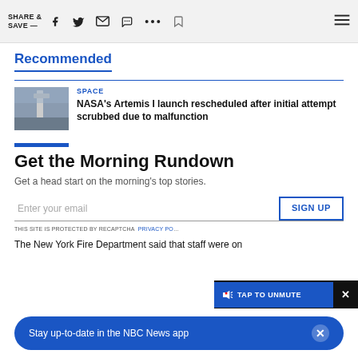SHARE & SAVE —
Recommended
SPACE
NASA's Artemis I launch rescheduled after initial attempt scrubbed due to malfunction
Get the Morning Rundown
Get a head start on the morning's top stories.
Enter your email
SIGN UP
THIS SITE IS PROTECTED BY RECAPTCHA  PRIVACY PO…
TAP TO UNMUTE
Stay up-to-date in the NBC News app
The New York Fire Department said that staff were on…